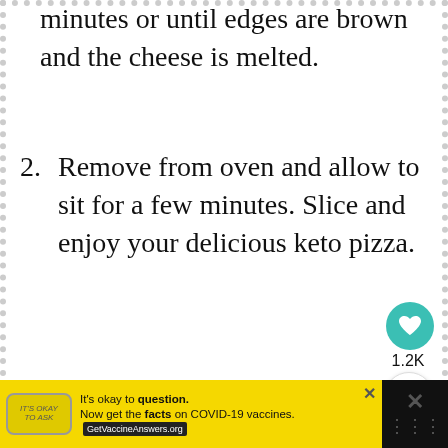in your preheated oven and bake for 12-15 minutes or until edges are brown and the cheese is melted.
2. Remove from oven and allow to sit for a few minutes. Slice and enjoy your delicious keto pizza.
[Figure (other): Teal circular heart/like button with 1.2K count, and a share button below it on the right side of the page.]
[Figure (other): Advertisement bar at the bottom: yellow background with COVID-19 vaccine info ad reading 'It's okay to question. Now get the facts on COVID-19 vaccines. GetVaccineAnswers.org' with a close X button.]